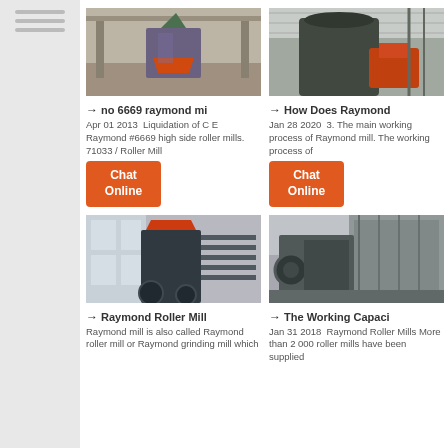[Figure (photo): Industrial Raymond mill machine inside a factory]
→ no 6669 raymond mi
Apr 01 2013  Liquidation of C E Raymond #6669 high side roller mills. 71033 / Roller Mill
[Figure (other): Chat Online button orange]
[Figure (photo): Large industrial Raymond mill machine exterior]
→ How Does Raymond
Jan 28 2020  3. The main working process of Raymond mill. The working process of
[Figure (other): Chat Online button orange]
[Figure (photo): Raymond roller mill equipment in factory]
→ Raymond Roller Mill
Raymond mill is also called Raymond roller mill or Raymond grinding mill which
[Figure (photo): The working capacity crusher machine exterior]
→ The Working Capaci
Jan 31 2018  Raymond Roller Mills More than 2 000 roller mills have been supplied